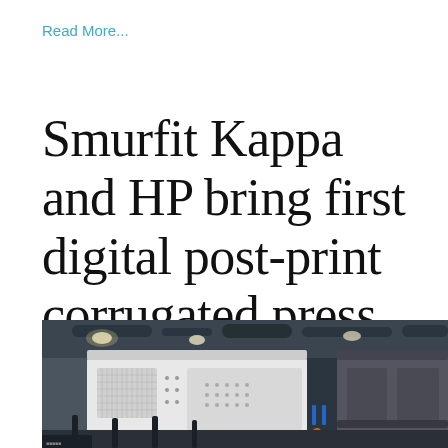Read More...
Smurfit Kappa and HP bring first digital post-print corrugated press to Europe
[Figure (photo): Industrial digital printing press machinery in a factory setting, showing large white and dark grey machine units with control panels and indicator lights, under a warehouse ceiling with ductwork and industrial lighting.]